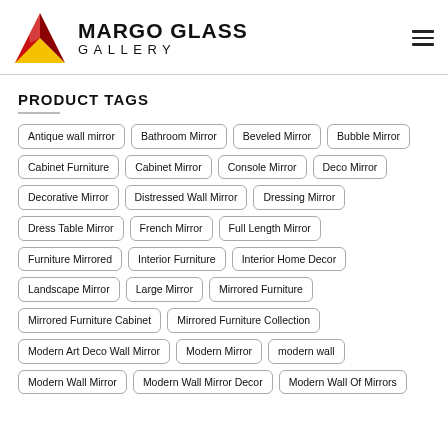[Figure (logo): Margo Glass Gallery logo with red/yellow/black geometric M shape and text MARGO GLASS GALLERY]
PRODUCT TAGS
Antique wall mirror
Bathroom Mirror
Beveled Mirror
Bubble Mirror
Cabinet Furniture
Cabinet Mirror
Console Mirror
Deco Mirror
Decorative Mirror
Distressed Wall Mirror
Dressing Mirror
Dress Table Mirror
French Mirror
Full Length Mirror
Furniture Mirrored
Interior Furniture
Interior Home Decor
Landscape Mirror
Large Mirror
Mirrored Furniture
Mirrored Furniture Cabinet
Mirrored Furniture Collection
Modern Art Deco Wall Mirror
Modern Mirror
modern wall
Modern Wall Mirror
Modern Wall Mirror Decor
Modern Wall Of Mirrors